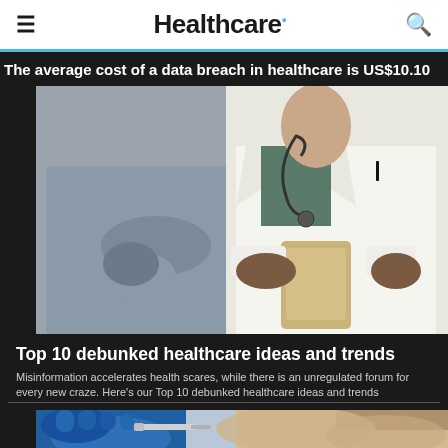Healthcare.
The average cost of a data breach in healthcare is US$10.10
[Figure (photo): Doctor in white coat holding tablet speaking with patient in gray sweater]
Top 10 debunked healthcare ideas and trends
Misinformation accelerates health scares, while there is an unregulated forum for every new craze. Here's our Top 10 debunked healthcare ideas and trends
[Figure (photo): Person in blue medical gloves examining or treating a patient]